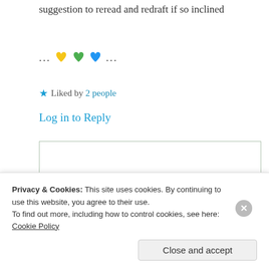suggestion to reread and redraft if so inclined
... 💛💚💙 ...
★ Liked by 2 people
Log in to Reply
Suma Reddy
9th Jun 2021 at 1:08 pm
Privacy & Cookies: This site uses cookies. By continuing to use this website, you agree to their use.
To find out more, including how to control cookies, see here: Cookie Policy
Close and accept